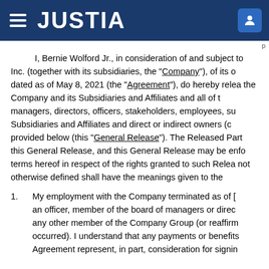JUSTIA
I, Bernie Wolford Jr., in consideration of and subject to Inc. (together with its subsidiaries, the “Company”), of its o dated as of May 8, 2021 (the “Agreement”), do hereby relea the Company and its Subsidiaries and Affiliates and all of t managers, directors, officers, stakeholders, employees, su Subsidiaries and Affiliates and direct or indirect owners (c provided below (this “General Release”). The Released Part this General Release, and this General Release may be enfo terms hereof in respect of the rights granted to such Relea not otherwise defined shall have the meanings given to the
My employment with the Company terminated as of [ an officer, member of the board of managers or direc any other member of the Company Group (or reaffirm occurred). I understand that any payments or benefits Agreement represent, in part, consideration for signin